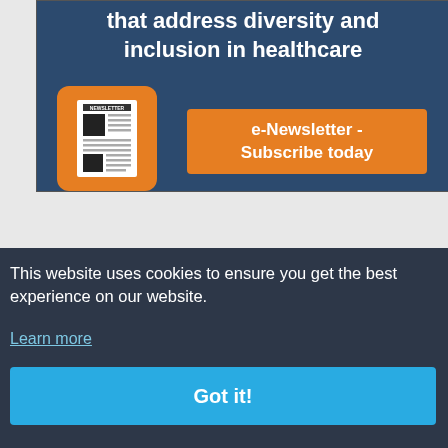[Figure (infographic): Newsletter subscription banner with dark blue background showing 'that address diversity and inclusion in healthcare' text, a newsletter icon in orange rounded square, and an orange 'e-Newsletter - Subscribe today' button]
This website uses cookies to ensure you get the best experience on our website.
Learn more
Got it!